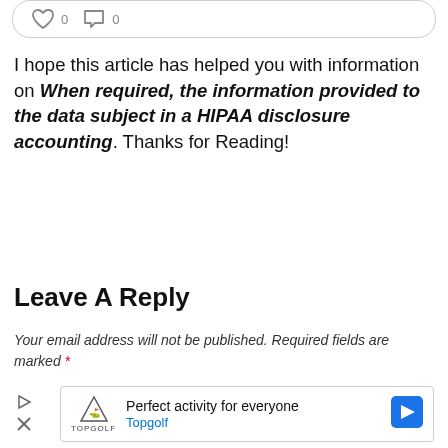[Figure (other): Social media interaction bar with heart and comment icons at top of page]
I hope this article has helped you with information on When required, the information provided to the data subject in a HIPAA disclosure accounting. Thanks for Reading!
Leave A Reply
Your email address will not be published. Required fields are marked *
[Figure (other): Advertisement box showing Topgolf ad with logo, text 'Perfect activity for everyone', Topgolf brand name, navigation arrow icon, and ad controls (play/close)]